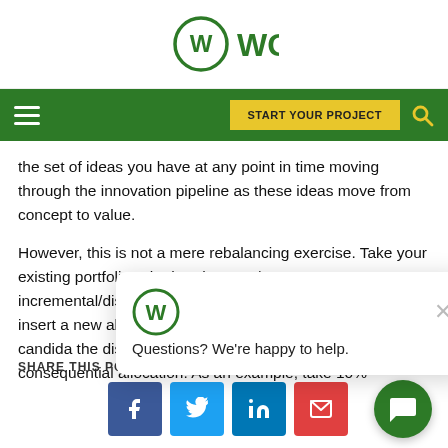[Figure (logo): WGI logo with circular W icon and WGI text in green]
Navigation bar with hamburger menu, START YOUR PROJECT button, and search icon
the set of ideas you have at any point in time moving through the innovation pipeline as these ideas move from concept to value.
However, this is not a mere rebalancing exercise. Take your existing portfolio, whether that's 80/20 incremental/disruptive or some other ratio, and deliberately insert a new allocation... consequential inno... promising candida... the disruptive side and place them in your new consequential allocation. As an example, take 10%
SHARE THIS POST
[Figure (screenshot): Social share buttons: Facebook, Twitter, LinkedIn, Email]